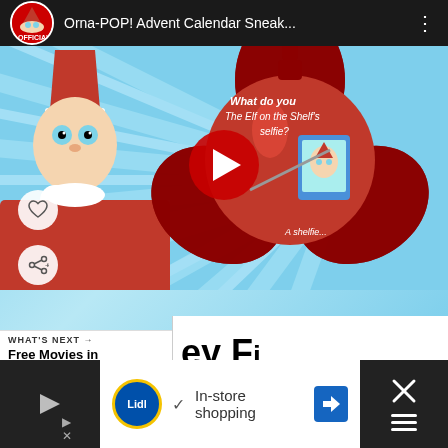[Figure (screenshot): YouTube video thumbnail for 'Orna-POP! Advent Calendar Sneak...' featuring Elf on the Shelf character on left and a red ornament with elf selfie illustration in center, with a YouTube play button overlay. Heart and share buttons visible on the left side.]
WHAT'S NEXT →
Free Movies in Marlboro at...
[Figure (screenshot): Overlay advertisement panel showing large bold text 'ey Fi' and small text 'Go-To Sor']
[Figure (screenshot): Bottom advertisement banner showing Lidl logo, checkmark, 'In-store shopping' text, blue navigation arrow icon, and close X button with triple-bar icon on dark background]